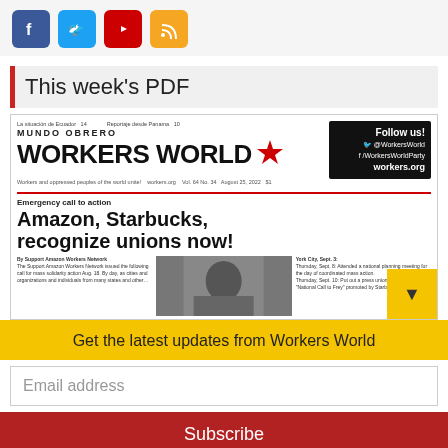[Figure (logo): Social media icons: Facebook (blue), Twitter (light blue), YouTube (red), RSS (orange)]
This week's PDF
[Figure (screenshot): Thumbnail of Workers World / Mundo Obrero newspaper front page with headline 'Amazon, Starbucks, recognize unions now!' and emergency call to action subheading. Includes Follow us box with @WorkersWorld, /WorkersWorldParty, workers.org. Bottom right has yellow triangle button.]
Get the latest updates from Workers World
Email address
Subscribe